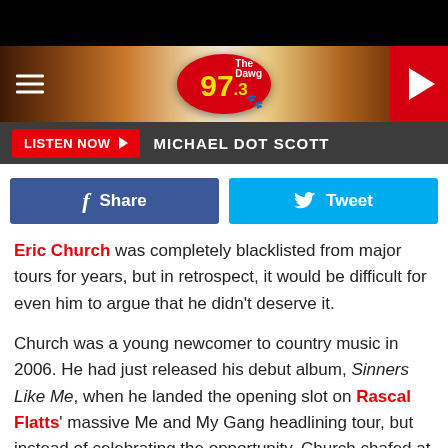[Figure (logo): 97.3 The Dawg radio station logo on wood-textured banner header with hamburger menu and play button]
LISTEN NOW ▶  MICHAEL DOT SCOTT
[Figure (infographic): Facebook Share button and Twitter Tweet button social sharing row]
Eric Church was completely blacklisted from major tours for years, but in retrospect, it would be difficult for even him to argue that he didn't deserve it.
Church was a young newcomer to country music in 2006. He had just released his debut album, Sinners Like Me, when he landed the opening slot on Rascal Flatts' massive Me and My Gang headlining tour, but instead of celebrating the opportunity, Church chafed at the restrictions the tour placed